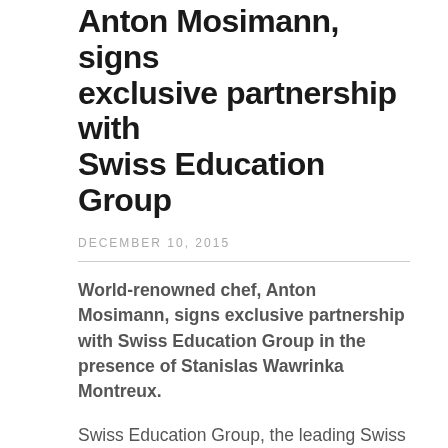Anton Mosimann, signs exclusive partnership with Swiss Education Group
DECEMBER 10, 2015
World-renowned chef, Anton Mosimann, signs exclusive partnership with Swiss Education Group in the presence of Stanislas Wawrinka Montreux.
Swiss Education Group, the leading Swiss provider of hotel management and culinary education, has announced the signing of an exclusive partnership with the world-renowned Swiss Chef, Anton Mosimann OBE (Officer of the Order of the British Empire). As part of this partnership, the Culinary Arts Academy Switzerland in Le Bouveret, in the Swiss Canton of Valais, will